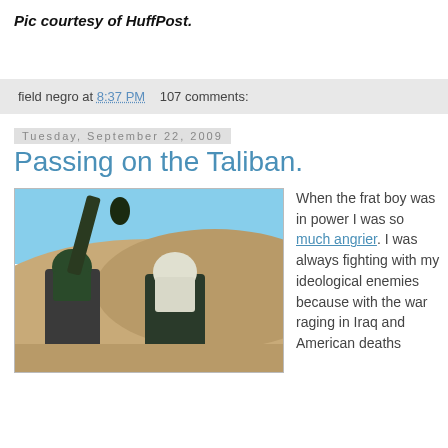Pic courtesy of HuffPost.
field negro at 8:37 PM   107 comments:
Tuesday, September 22, 2009
Passing on the Taliban.
[Figure (photo): Two armed figures with faces covered by scarves/turbans, holding a rocket-propelled grenade launcher, with a desert hillside background.]
When the frat boy was in power I was so much angrier. I was always fighting with my ideological enemies because with the war raging in Iraq and American deaths